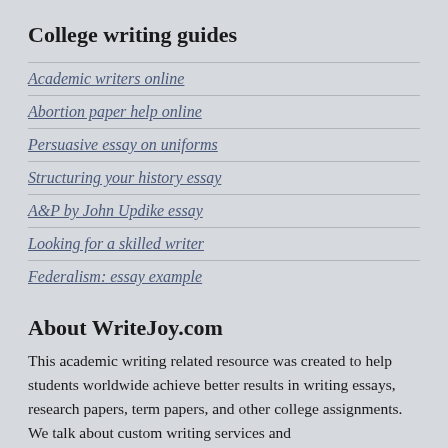College writing guides
Academic writers online
Abortion paper help online
Persuasive essay on uniforms
Structuring your history essay
A&P by John Updike essay
Looking for a skilled writer
Federalism: essay example
About WriteJoy.com
This academic writing related resource was created to help students worldwide achieve better results in writing essays, research papers, term papers, and other college assignments. We talk about custom writing services and